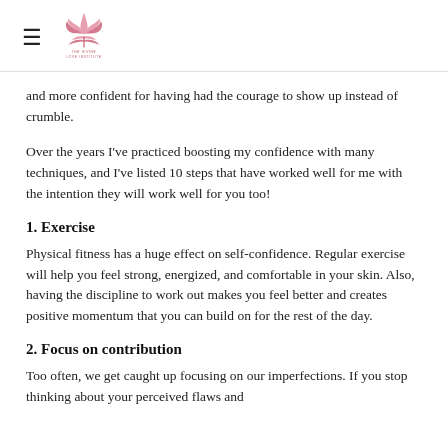≡ THE DIVINE LOVE INSTITUTE
and more confident for having had the courage to show up instead of crumble.
Over the years I've practiced boosting my confidence with many techniques, and I've listed 10 steps that have worked well for me with the intention they will work well for you too!
1. Exercise
Physical fitness has a huge effect on self-confidence. Regular exercise will help you feel strong, energized, and comfortable in your skin. Also, having the discipline to work out makes you feel better and creates positive momentum that you can build on for the rest of the day.
2. Focus on contribution
Too often, we get caught up focusing on our imperfections. If you stop thinking about your perceived flaws and